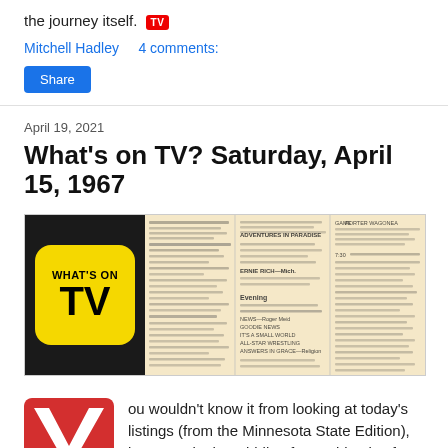the journey itself. TV
Mitchell Hadley    4 comments:
Share
April 19, 2021
What's on TV? Saturday, April 15, 1967
[Figure (photo): TV guide image showing 'WHAT'S ON TV' yellow logo on black background left, and vintage TV listings columns on beige/tan background right showing 'Evening' section and various show listings]
[Figure (logo): Red square with rounded corners containing a large white V checkmark/letter, partial — bottom portion of the What's On TV logo]
ou wouldn't know it from looking at today's listings (from the Minnesota State Edition), but we're in the middle of an epidemic of